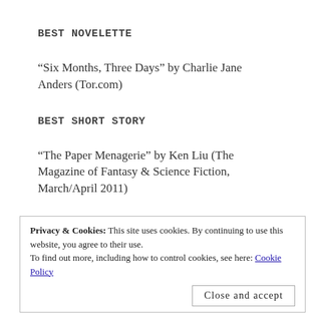BEST NOVELETTE
“Six Months, Three Days” by Charlie Jane Anders (Tor.com)
BEST SHORT STORY
“The Paper Menagerie” by Ken Liu (The Magazine of Fantasy & Science Fiction, March/April 2011)
BEST RELATED WORK
The Encyclopedia of Science Fiction, Third Edition edited by John Clute, David Langford, Peter Nicholls, and Graham Sleight (Gollancz)
Privacy & Cookies: This site uses cookies. By continuing to use this website, you agree to their use. To find out more, including how to control cookies, see here: Cookie Policy
Close and accept